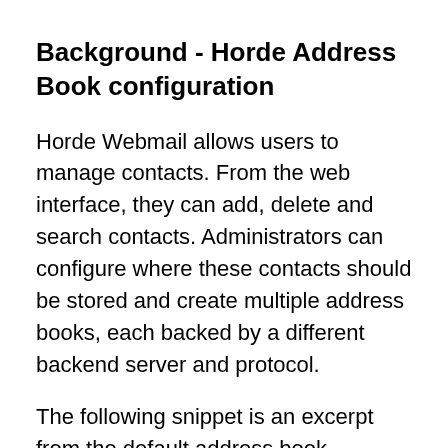Background - Horde Address Book configuration
Horde Webmail allows users to manage contacts. From the web interface, they can add, delete and search contacts. Administrators can configure where these contacts should be stored and create multiple address books, each backed by a different backend server and protocol.
The following snippet is an excerpt from the default address book configuration file and shows the default configuration for an LDAP backend:
turba/config/backends.php